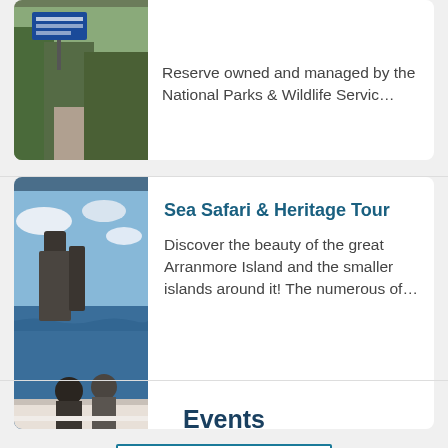[Figure (photo): Partial view of a nature reserve path with a blue sign and trees]
Reserve owned and managed by the National Parks & Wildlife Servic…
[Figure (photo): People on a boat looking at sea stacks on the water during the Sea Safari & Heritage Tour]
Sea Safari & Heritage Tour
Discover the beauty of the great Arranmore Island and the smaller islands around it! The numerous of…
→  More Activities
Events